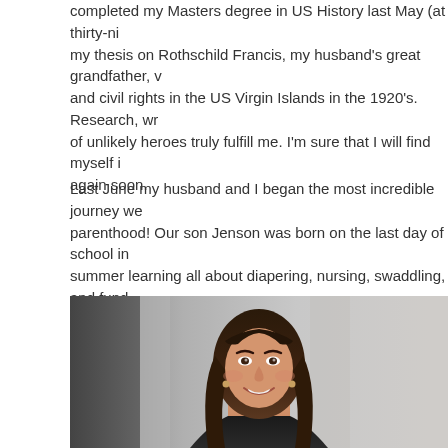completed my Masters degree in US History last May (at thirty-ni my thesis on Rothschild Francis, my husband's great grandfather, v and civil rights in the US Virgin Islands in the 1920's. Research, wr of unlikely heroes truly fulfill me. I'm sure that I will find myself i again soon.
Last June my husband and I began the most incredible journey we parenthood! Our son Jenson was born on the last day of school in summer learning all about diapering, nursing, swaddling, and fund sleep. Jenson is a year old now and he's an absolute joy. He is THE in my life (I'm biased, I know), and he keeps us laughing constantly Instastories, so for his daily antics, check out my Instagram!
[Figure (photo): Portrait photo of a smiling young woman with dark hair, wearing earrings, photographed outdoors with a blurred background.]